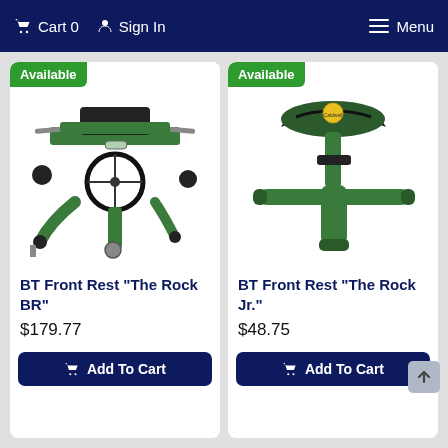Cart 0  Sign In  Menu
[Figure (photo): Green shooting bench rest 'The Rock BR' with adjustable platform, wheel adjustment mechanism, and multiple knobs]
BT Front Rest "The Rock BR"
$179.77
Add To Cart
[Figure (photo): Green shooting front rest 'The Rock Jr.' with saddle-style top and T-shaped base, Caldwell branded]
BT Front Rest "The Rock Jr."
$48.75
Add To Cart